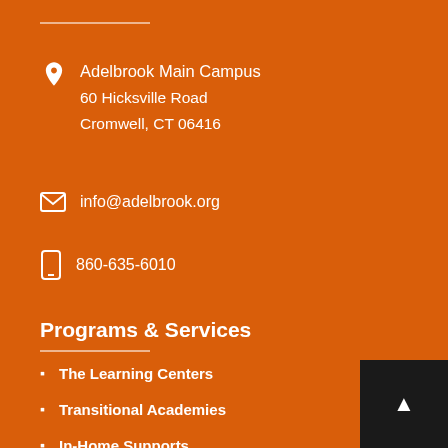Adelbrook Main Campus
60 Hicksville Road
Cromwell, CT 06416
info@adelbrook.org
860-635-6010
Programs & Services
The Learning Centers
Transitional Academies
In-Home Supports
Residential Living